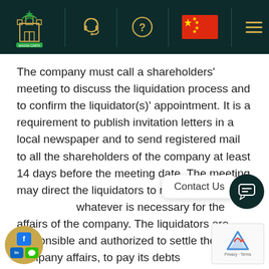[Figure (screenshot): Website navigation bar with dark green background containing a logo, headset icon, question mark icon, Chinese flag, and hamburger menu icon]
The company must call a shareholders' meeting to discuss the liquidation process and to confirm the liquidator(s)' appointment. It is a requirement to publish invitation letters in a local newspaper and to send registered mail to all the shareholders of the company at least 14 days before the meeting date. The meeting may direct the liquidators to make an interim payment of whatever is necessary for the affairs of the company. The liquidators are responsible and authorized to settle the company affairs, to pay its debts